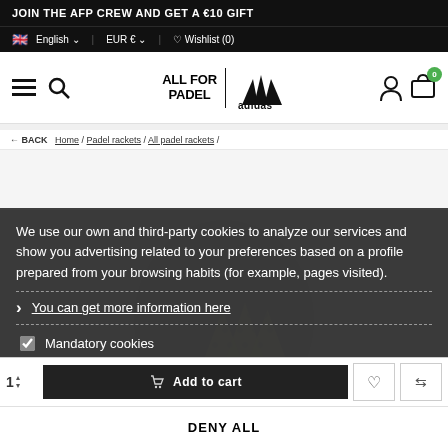JOIN THE AFP CREW AND GET A €10 GIFT
🇬🇧 English  |  EUR €  |  ♡ Wishlist (0)
[Figure (logo): ALL FOR PADEL | adidas logo with hamburger menu and search icon on left, user and cart icons on right]
<- BACK  Home / Padel rackets / All padel rackets /
We use our own and third-party cookies to analyze our services and show you advertising related to your preferences based on a profile prepared from your browsing habits (for example, pages visited).
You can get more information here
Mandatory cookies
Statistics cookies
Marketing and Social network cookies
DENY ALL